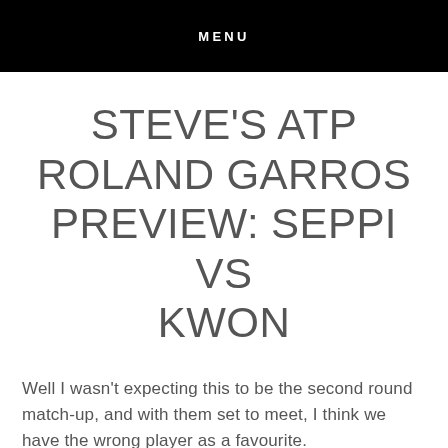MENU
STEVE'S ATP ROLAND GARROS PREVIEW: SEPPI VS KWON
Well I wasn't expecting this to be the second round match-up, and with them set to meet, I think we have the wrong player as a favourite.